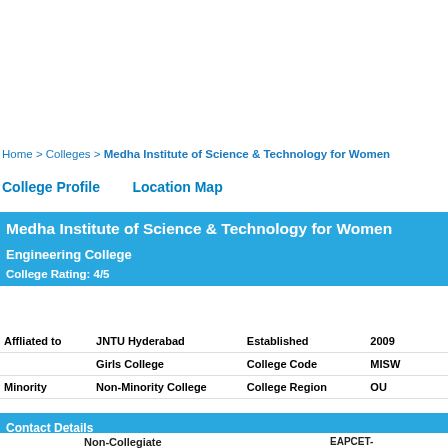Home > Colleges > Medha Institute of Science & Technology for Women
College Profile    Location Map
Medha Institute of Science & Technology for Women
Engineering College
College Rating: 4/5
| Affliated to | JNTU Hyderabad | Established | 2009 |
| --- | --- | --- | --- |
|  | Girls College | College Code | MISW |
| Minority | Non-Minority College | College Region | OU |
Contact Details
Non-Collegiate Autonomous    EAPCET-Hyd...